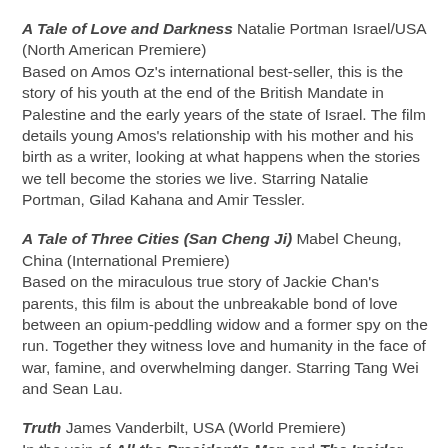A Tale of Love and Darkness Natalie Portman Israel/USA (North American Premiere)
Based on Amos Oz's international best-seller, this is the story of his youth at the end of the British Mandate in Palestine and the early years of the state of Israel. The film details young Amos's relationship with his mother and his birth as a writer, looking at what happens when the stories we tell become the stories we live. Starring Natalie Portman, Gilad Kahana and Amir Tessler.
A Tale of Three Cities (San Cheng Ji) Mabel Cheung, China (International Premiere)
Based on the miraculous true story of Jackie Chan's parents, this film is about the unbreakable bond of love between an opium-peddling widow and a former spy on the run. Together they witness love and humanity in the face of war, famine, and overwhelming danger. Starring Tang Wei and Sean Lau.
Truth James Vanderbilt, USA (World Premiere)
In the vein of All the President's Men and The Insider, this is the incredible true story of Mary Mapes, an award-winning